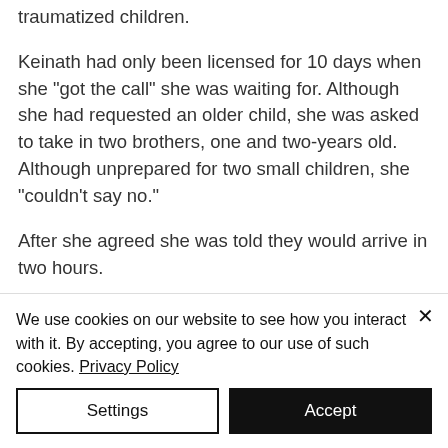traumatized children.
Keinath had only been licensed for 10 days when she "got the call" she was waiting for. Although she had requested an older child, she was asked to take in two brothers, one and two-years old. Although unprepared for two small children, she "couldn't say no."
After she agreed she was told they would arrive in two hours.
We use cookies on our website to see how you interact with it. By accepting, you agree to our use of such cookies. Privacy Policy
Settings
Accept